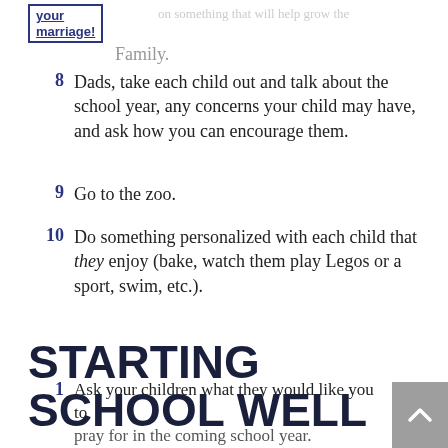[Figure (logo): Logo box with text 'your marriage!' underlined, blue border]
Family.
8   Dads, take each child out and talk about the school year, any concerns your child may have, and ask how you can encourage them.
9   Go to the zoo.
10  Do something personalized with each child that they enjoy (bake, watch them play Legos or a sport, swim, etc.).
STARTING SCHOOL WELL
1   Ask your children what they would like you to pray for in the coming school year.